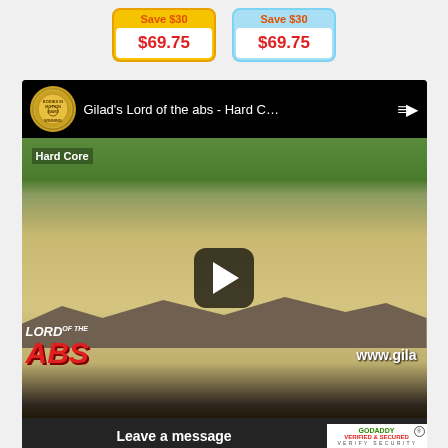[Figure (infographic): Two product price boxes side by side. Left box: yellow background, 'Save $30' in red, '$69.75' in red on white. Right box: light blue background, 'Save $30' in red, '$69.75' in red on white.]
[Figure (screenshot): YouTube video thumbnail for 'Gilad's Lord of the abs - Hard C...' showing people exercising on a beach with 'LORD OF THE ABS' text overlay, a play button, 'Hard Core' label, and 'www.gilad...' URL. Bottom bar shows 'Leave a message' and GoDaddy Verified & Secured badge.]